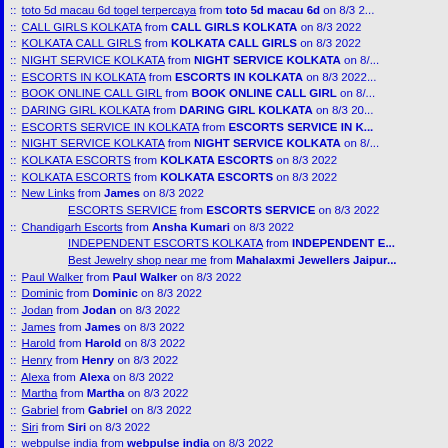:: toto 5d macau 6d togel terpercaya from toto 5d macau 6d on 8/3 2...
:: CALL GIRLS KOLKATA from CALL GIRLS KOLKATA on 8/3 2022
:: KOLKATA CALL GIRLS from KOLKATA CALL GIRLS on 8/3 2022
:: NIGHT SERVICE KOLKATA from NIGHT SERVICE KOLKATA on 8/...
:: ESCORTS IN KOLKATA from ESCORTS IN KOLKATA on 8/3 2022...
:: BOOK ONLINE CALL GIRL from BOOK ONLINE CALL GIRL on 8/...
:: DARING GIRL KOLKATA from DARING GIRL KOLKATA on 8/3 20...
:: ESCORTS SERVICE IN KOLKATA from ESCORTS SERVICE IN K...
:: NIGHT SERVICE KOLKATA from NIGHT SERVICE KOLKATA on 8/...
:: KOLKATA ESCORTS from KOLKATA ESCORTS on 8/3 2022
:: KOLKATA ESCORTS from KOLKATA ESCORTS on 8/3 2022
:: New Links from James on 8/3 2022
ESCORTS SERVICE from ESCORTS SERVICE on 8/3 2022
:: Chandigarh Escorts from Ansha Kumari on 8/3 2022
INDEPENDENT ESCORTS KOLKATA from INDEPENDENT E...
Best Jewelry shop near me from Mahalaxmi Jewellers Jaipur...
:: Paul Walker from Paul Walker on 8/3 2022
:: Dominic from Dominic on 8/3 2022
:: Jodan from Jodan on 8/3 2022
:: James from James on 8/3 2022
:: Harold from Harold on 8/3 2022
:: Henry from Henry on 8/3 2022
:: Alexa from Alexa on 8/3 2022
:: Martha from Martha on 8/3 2022
:: Gabriel from Gabriel on 8/3 2022
:: Siri from Siri on 8/3 2022
:: webpulse india from webpulse india on 8/3 2022
:: pg from pg on 8/3 2022
:: Links from Vishu on 8/3 2022
:: xccxvcxvxc from aurora borealis weed on 8/3 2022